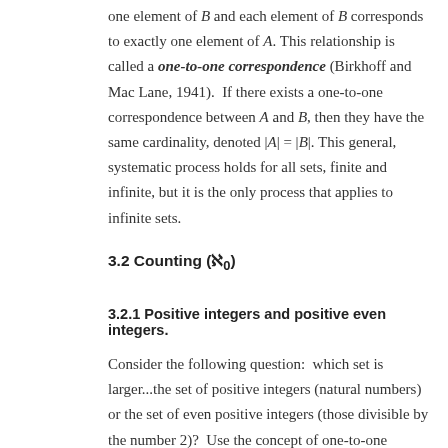one element of B and each element of B corresponds to exactly one element of A. This relationship is called a one-to-one correspondence (Birkhoff and Mac Lane, 1941). If there exists a one-to-one correspondence between A and B, then they have the same cardinality, denoted |A| = |B|. This general, systematic process holds for all sets, finite and infinite, but it is the only process that applies to infinite sets.
3.2 Counting (ℵ₀)
3.2.1 Positive integers and positive even integers.
Consider the following question: which set is larger...the set of positive integers (natural numbers) or the set of even positive integers (those divisible by the number 2)? Use the concept of one-to-one...